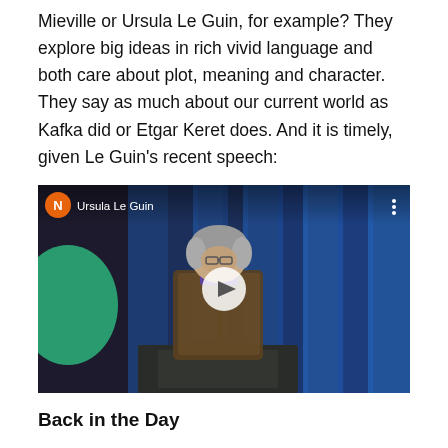Mieville or Ursula Le Guin, for example? They explore big ideas in rich vivid language and both care about plot, meaning and character. They say as much about our current world as Kafka did or Etgar Keret does. And it is timely, given Le Guin's recent speech:
[Figure (screenshot): YouTube video thumbnail showing Ursula Le Guin speaking at a podium, with a channel icon labeled 'N' and channel name 'Ursula Le Guin', blue curtain background, play button overlay]
Back in the Day